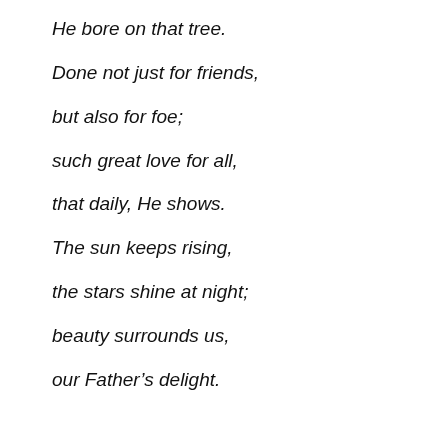He bore on that tree.
Done not just for friends,
but also for foe;
such great love for all,
that daily, He shows.
The sun keeps rising,
the stars shine at night;
beauty surrounds us,
our Father’s delight.